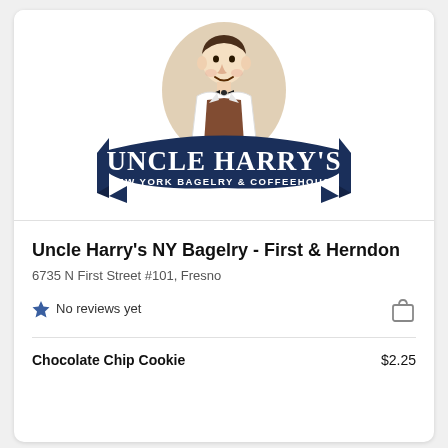[Figure (logo): Uncle Harry's New York Bagelry & Coffeehouse logo: cartoon man in apron and bow tie inside an oval, above a dark navy banner with 'UNCLE HARRY'S' in large white serif letters and 'NEW YORK BAGELRY & COFFEEHOUSE' below in smaller text on the banner arc.]
Uncle Harry's NY Bagelry - First & Herndon
6735 N First Street #101, Fresno
No reviews yet
Chocolate Chip Cookie  $2.25